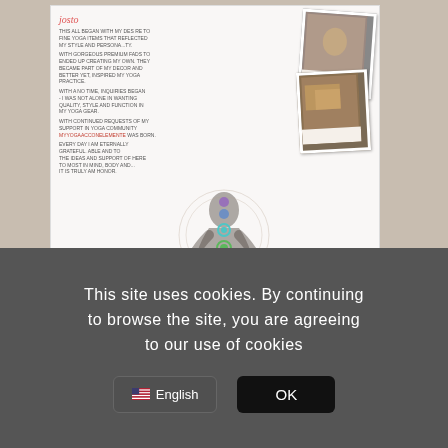[Figure (screenshot): Website screenshot showing a yoga brand page with a white card containing text about the brand story (josto), polaroid-style photos of yoga items, chakra symbols overlaid on a silhouette figure in meditation pose, on a beige/tan background. An edit icon is visible in the lower right of the card area.]
This site uses cookies. By continuing to browse the site, you are agreeing to our use of cookies
English
OK